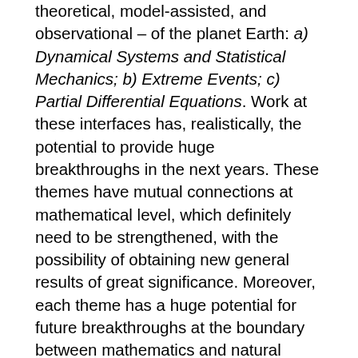theoretical, model-assisted, and observational – of the planet Earth: a) Dynamical Systems and Statistical Mechanics; b) Extreme Events; c) Partial Differential Equations. Work at these interfaces has, realistically, the potential to provide huge breakthroughs in the next years. These themes have mutual connections at mathematical level, which definitely need to be strengthened, with the possibility of obtaining new general results of great significance. Moreover, each theme has a huge potential for future breakthroughs at the boundary between mathematics and natural science. Finally, a crucial thread linking all of these themes is that related to the approaches and methodologies of modelling and analysing model outputs. In complex, multiscale system an ubiquitous issue is the choice of the specific details to model, of how to model them and parametrize the unresolved scales, how to implement efficiently a model, how to validate the model with sparse and uncertain data, how to control the model error, how to define robust observable, how to convincingly perform upscaling and downscaling procedures, and how to deal